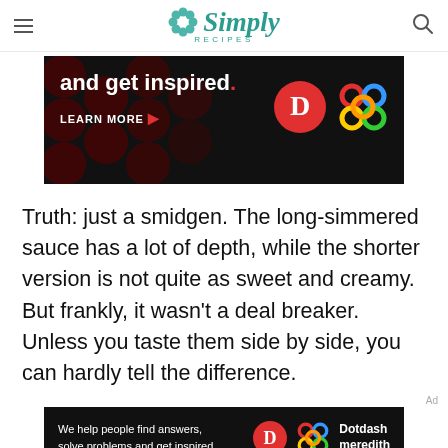Simply Recipes
[Figure (screenshot): Dark advertisement banner with text 'and get inspired.' with red period, 'LEARN MORE' button with red arrow, and Dotdash Meredith logos on black background with dark red dot pattern]
Truth: just a smidgen. The long-simmered sauce has a lot of depth, while the shorter version is not quite as sweet and creamy. But frankly, it wasn't a deal breaker. Unless you taste them side by side, you can hardly tell the difference.
[Figure (screenshot): Dark advertisement banner at bottom: 'We help people find answers, solve problems and get inspired.' with Dotdash Meredith logo]